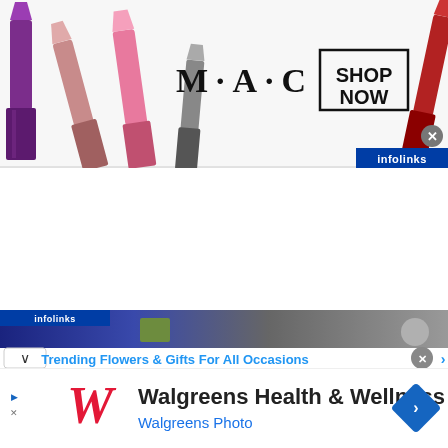[Figure (screenshot): MAC Cosmetics advertisement banner showing lipsticks on left, MAC logo text in center, 'SHOP NOW' button in a box on right, red lipstick on far right, with infolinks branding badge at bottom right. Close X button in top right corner.]
[Figure (screenshot): Infolinks bottom ad bar with dark blue gradient, chevron down button, 'Trending Flowers & Gifts For All Occasions' text in blue, close X button, and blue arrow right button.]
[Figure (screenshot): Walgreens Health & Wellness advertisement with red Walgreens W logo, title 'Walgreens Health & Wellness', subtitle 'Walgreens Photo', blue navigation arrow diamond icon on right, ad indicator on left side.]